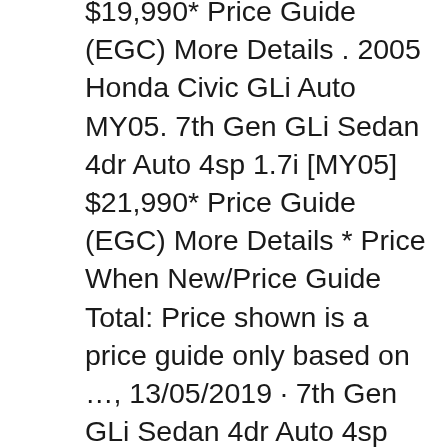$19,990* Price Guide (EGC) More Details . 2005 Honda Civic GLi Auto MY05. 7th Gen GLi Sedan 4dr Auto 4sp 1.7i [MY05] $21,990* Price Guide (EGC) More Details * Price When New/Price Guide Total: Price shown is a price guide only based on …, 13/05/2019 · 7th Gen GLi Sedan 4dr Auto 4sp 1.7i [MY05] $21,990* 2005 Honda Civic GLi Manual MY05. 7th Gen GLi Sedan 4dr Man 5sp 1.7i [MY05] $19,990* Price Guide (EGC) More Details . 2005 Honda Civic GLi Auto MY05. 7th Gen GLi Sedan 4dr Auto 4sp 1.7i [MY05] $21,990* Price Guide (EGC) More Details * Price When New/Price Guide Total: Price shown is a price guide only based on ....